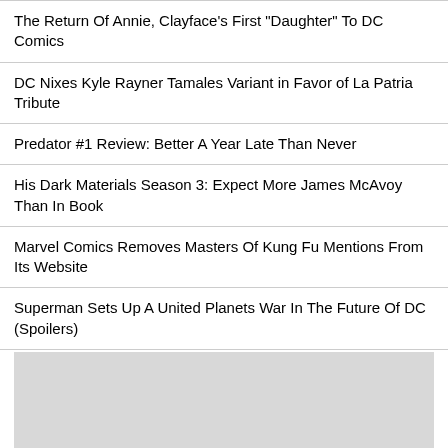The Return Of Annie, Clayface's First "Daughter" To DC Comics
DC Nixes Kyle Rayner Tamales Variant in Favor of La Patria Tribute
Predator #1 Review: Better A Year Late Than Never
His Dark Materials Season 3: Expect More James McAvoy Than In Book
Marvel Comics Removes Masters Of Kung Fu Mentions From Its Website
Superman Sets Up A United Planets War In The Future Of DC (Spoilers)
New Joe & Mac: Caveman Ninja Receives "Gameplay" Trailer
[Figure (other): Gray placeholder box at the bottom of the page]